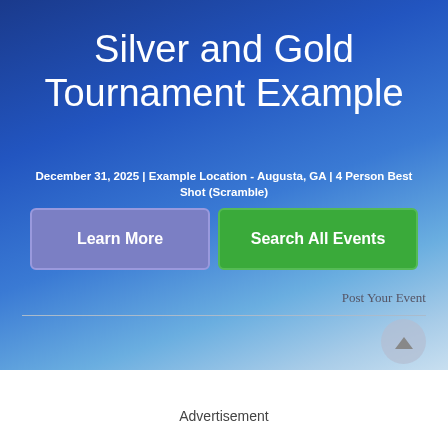Silver and Gold Tournament Example
December 31, 2025 | Example Location - Augusta, GA | 4 Person Best Shot (Scramble)
Learn More
Search All Events
Post Your Event
Advertisement